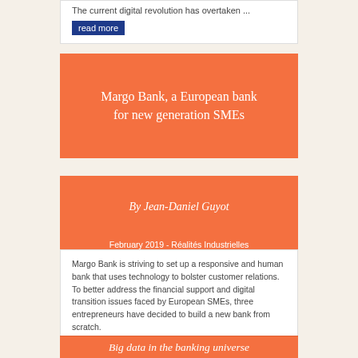The current digital revolution has overtaken ...
read more
Margo Bank, a European bank for new generation SMEs
By Jean-Daniel Guyot
February 2019 - Réalités Industrielles
Margo Bank is striving to set up a responsive and human bank that uses technology to bolster customer relations. To better address the financial support and digital transition issues faced by European SMEs, three entrepreneurs have decided to build a new bank from scratch. By building its own tech stack and recasting its organisational structure and processes, ...
read more
Big data in the banking universe